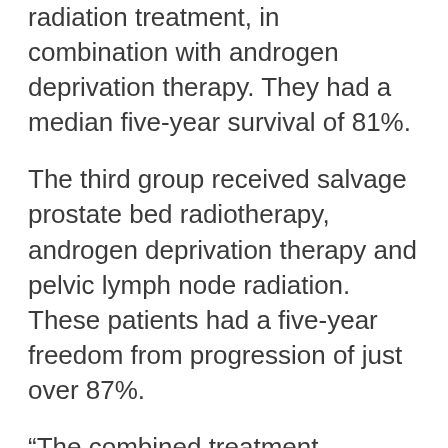radiation treatment, in combination with androgen deprivation therapy. They had a median five-year survival of 81%.
The third group received salvage prostate bed radiotherapy, androgen deprivation therapy and pelvic lymph node radiation. These patients had a five-year freedom from progression of just over 87%.
“The combined treatment approach proved to be the most beneficial approach,” said Sandler, also the Ronald H. Bloom Family Chair in Cancer Therapeutics and professor of Radiation Oncology at Cedars-Sinai.
Prostate cancer is the most common non-skin cancer in the U.S., affecting 1 in every 6